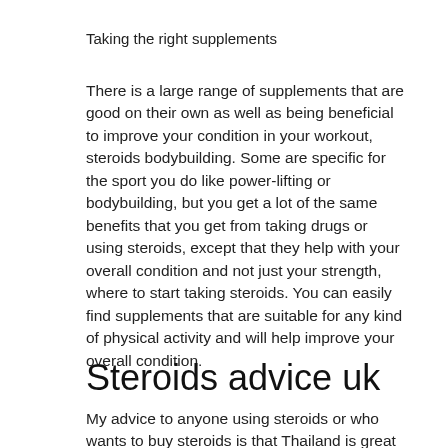Taking the right supplements
There is a large range of supplements that are good on their own as well as being beneficial to improve your condition in your workout, steroids bodybuilding. Some are specific for the sport you do like power-lifting or bodybuilding, but you get a lot of the same benefits that you get from taking drugs or using steroids, except that they help with your overall condition and not just your strength, where to start taking steroids. You can easily find supplements that are suitable for any kind of physical activity and will help improve your overall condition.
Steroids advice uk
My advice to anyone using steroids or who wants to buy steroids is that Thailand is great